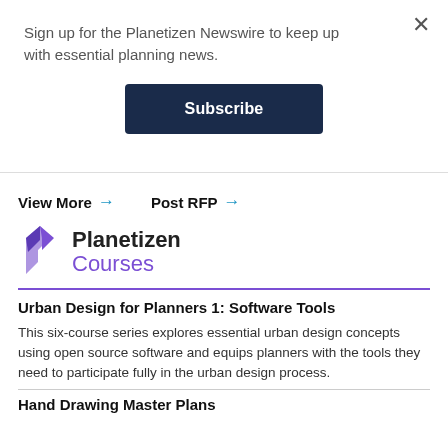Sign up for the Planetizen Newswire to keep up with essential planning news.
Subscribe
View More →
Post RFP →
[Figure (logo): Planetizen Courses logo with purple angular P icon and text 'Planetizen Courses']
Urban Design for Planners 1: Software Tools
This six-course series explores essential urban design concepts using open source software and equips planners with the tools they need to participate fully in the urban design process.
Hand Drawing Master Plans